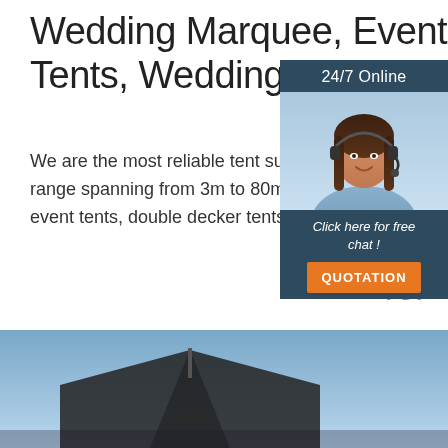Wedding Marquee, Event Party Tents, Wedding Tents for
[Figure (photo): Customer service woman with headset smiling, shown in sidebar with dark blue background, '24/7 Online' header, 'Click here for free chat!' text and orange QUOTATION button]
We are the most reliable tent supplier. The products of both rental and sales have a wide range spanning from 3m to 80m and multiple designs and shapes, such as party tents, wedding tents, event tents, double decker tents, arcum tents, multi-side tents...
[Figure (other): Orange and red dot 'TOP' back-to-top button with chevron/tent icon above the text]
[Figure (photo): Bottom portion of page showing outdoor marquee/tent structure against blue sky background]